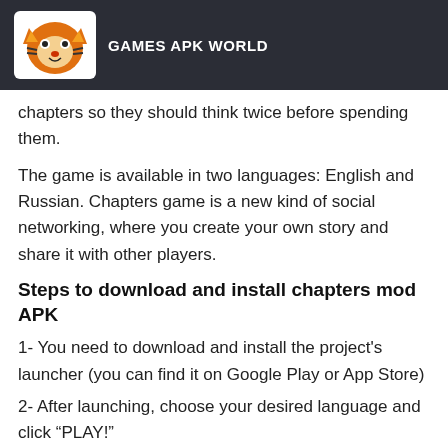GAMES APK WORLD
chapters so they should think twice before spending them.
The game is available in two languages: English and Russian. Chapters game is a new kind of social networking, where you create your own story and share it with other players.
Steps to download and install chapters mod APK
1- You need to download and install the project's launcher (you can find it on Google Play or App Store)
2- After launching, choose your desired language and click “PLAY!”
3- Log in using either Facebook Connect or email address.
4- The game will start downloading and take up about 200 MB of free